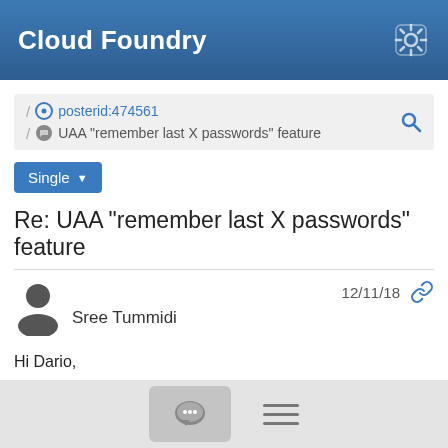Cloud Foundry
posterid:474561 / UAA "remember last X passwords" feature
Single
Re: UAA "remember last X passwords" feature
12/11/18  Sree Tummidi
Hi Dario,
I completely understand the sentiment. I did not mean to talk about deprecation in this fashion. Our intention is to do a survey